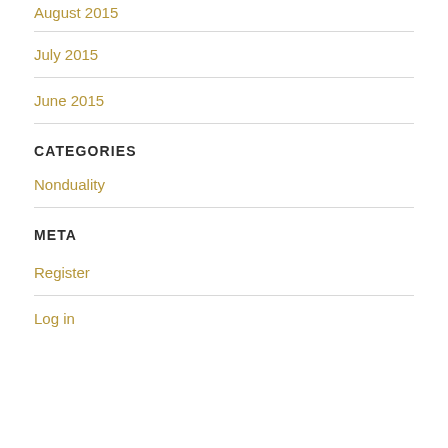August 2015
July 2015
June 2015
CATEGORIES
Nonduality
META
Register
Log in